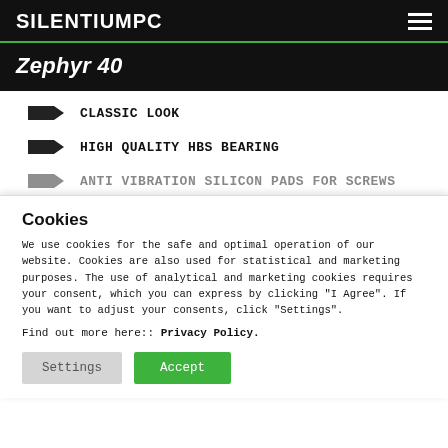SILENTIUMPC
Zephyr 40
CLASSIC LOOK
HIGH QUALITY HBS BEARING
ANTI VIBRATION SILICON PADS FOR SCREWS
Cookies
We use cookies for the safe and optimal operation of our website. Cookies are also used for statistical and marketing purposes. The use of analytical and marketing cookies requires your consent, which you can express by clicking "I Agree". If you want to adjust your consents, click "Settings".
Find out more here:: Privacy Policy.
Settings | Accept